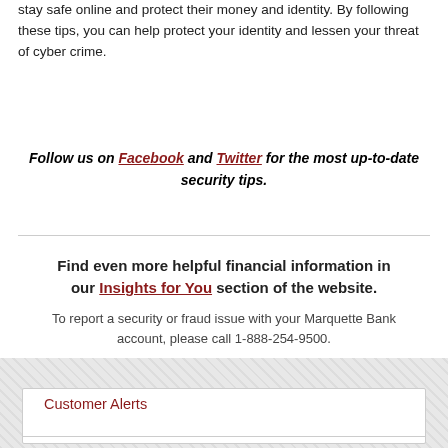stay safe online and protect their money and identity. By following these tips, you can help protect your identity and lessen your threat of cyber crime.
Follow us on Facebook and Twitter for the most up-to-date security tips.
Find even more helpful financial information in our Insights for You section of the website.
To report a security or fraud issue with your Marquette Bank account, please call 1-888-254-9500.
Customer Alerts